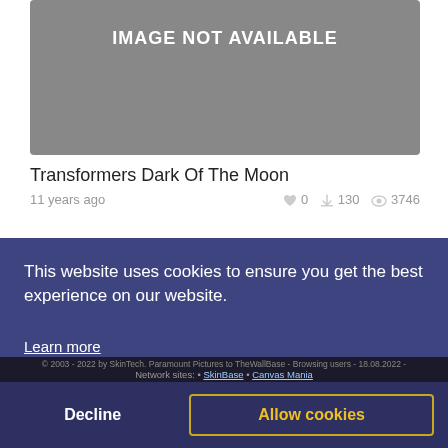[Figure (other): Image not available placeholder — gray rectangle with white text 'IMAGE NOT AVAILABLE']
Transformers Dark Of The Moon
11 years ago   ♥ 0   ⬇ 130   👁 3746
[Figure (other): Pagination bar with pages 1 (active/blue) through 10 and a right arrow]
This website uses cookies to ensure you get the best experience on our website.
Learn more
Decline    Allow cookies
© 2003 - 2022 by SkinTech. Paramount Pictures to TheWallBase - Browsing users - 18.08.2022 - Network sites: • SkinBase • Canvas Mania